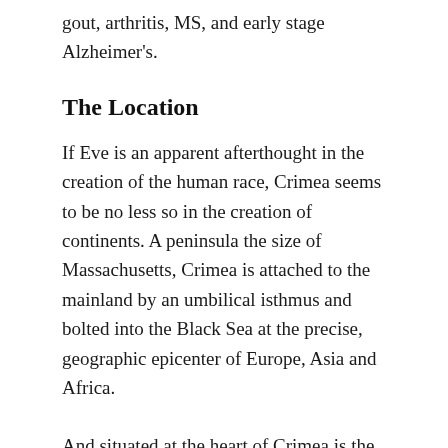gout, arthritis, MS, and early stage Alzheimer's.
The Location
If Eve is an apparent afterthought in the creation of the human race, Crimea seems to be no less so in the creation of continents. A peninsula the size of Massachusetts, Crimea is attached to the mainland by an umbilical isthmus and bolted into the Black Sea at the precise, geographic epicenter of Europe, Asia and Africa.
And situated at the heart of Crimea is the international airport of Simferopol, a 2–3 hour flight from European capitals, with connections